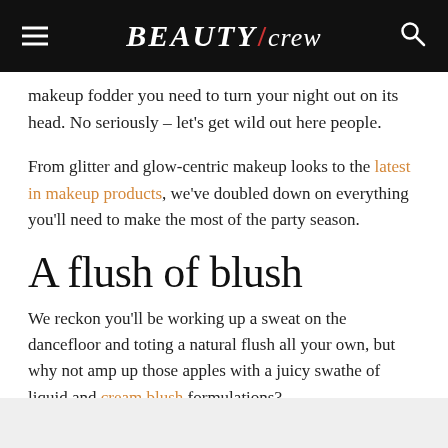BEAUTY/crew
makeup fodder you need to turn your night out on its head. No seriously – let's get wild out here people.
From glitter and glow-centric makeup looks to the latest in makeup products, we've doubled down on everything you'll need to make the most of the party season.
A flush of blush
We reckon you'll be working up a sweat on the dancefloor and toting a natural flush all your own, but why not amp up those apples with a juicy swathe of liquid and cream blush formulations?